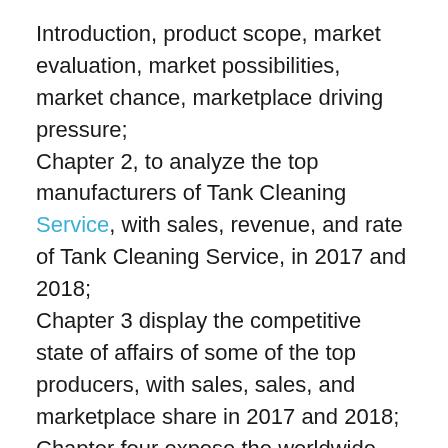Introduction, product scope, market evaluation, market possibilities, market chance, marketplace driving pressure;
Chapter 2, to analyze the top manufacturers of Tank Cleaning Service, with sales, revenue, and rate of Tank Cleaning Service, in 2017 and 2018;
Chapter 3 display the competitive state of affairs of some of the top producers, with sales, sales, and marketplace share in 2017 and 2018;
Chapter four expose the worldwide market using regions, with sales, sales, and marketplace proportion of Tank Cleaning Service, for each region, from 2014 to 2019;
Chapter five, 6, 7, eight and nine investigate the marketplace through international locations, by using kind, by using software and by way of manufacturers, with sales, sales, and market proportion using key authors both;